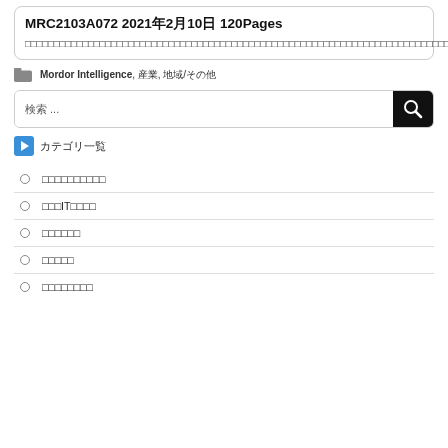MRC2103A072 2021年2月10日 120Pages
□□□□□□□□□□□□□□□□□□□□□□□□□□□□□□□□□□□□□□□□□□□□□□□□□□□□□□□□□□□□□□□□□□□□□□□□□□□□□□□□□□□□□□□□□□□□□□□□□□□□□□□□□□□□□□□□□□□□□□□□□□□□□□□□□□□□□□□□□□□□□□□□□□□□□□□□□□□□□□□□□□□□□□□□□□□□□□□□□□□□□□□□□□□□□□□□□□□□□□□□□□□□□□□□□□□□□□□□□□□□□□□□□□□□□□□□□□□□□□□□□□□□□□□□□□□□□□□□□□□□□□□□□□□□□□□□□□□□□□□□□□□□□□□□□...
Mordor Intelligence, 産業, 地域/その他
検索 ...
カテゴリ一覧
□□□□□□□□□□
□□□IT□□□□
□□□□□□
□□□□□
□□□□□□□□